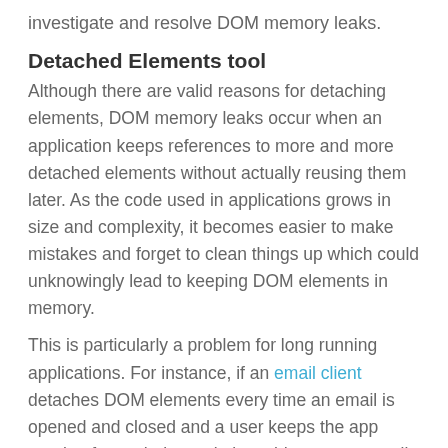investigate and resolve DOM memory leaks.
Detached Elements tool
Although there are valid reasons for detaching elements, DOM memory leaks occur when an application keeps references to more and more detached elements without actually reusing them later. As the code used in applications grows in size and complexity, it becomes easier to make mistakes and forget to clean things up which could unknowingly lead to keeping DOM elements in memory.
This is particularly a problem for long running applications. For instance, if an email client detaches DOM elements every time an email is opened and closed and a user keeps the app running for a whole week, it could amount to really high memory usage and slow down a user's business laptop or workstation over time.